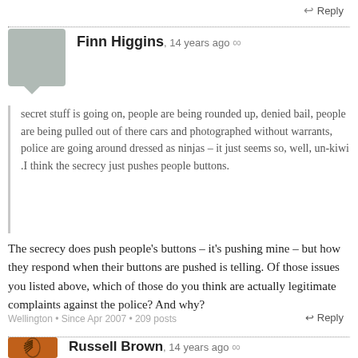↩ Reply
Finn Higgins, 14 years ago ∞
secret stuff is going on, people are being rounded up, denied bail, people are being pulled out of there cars and photographed without warrants, police are going around dressed as ninjas – it just seems so, well, un-kiwi .I think the secrecy just pushes people buttons.
The secrecy does push people's buttons – it's pushing mine – but how they respond when their buttons are pushed is telling. Of those issues you listed above, which of those do you think are actually legitimate complaints against the police? And why?
Wellington • Since Apr 2007 • 209 posts
↩ Reply
Russell Brown, 14 years ago ∞